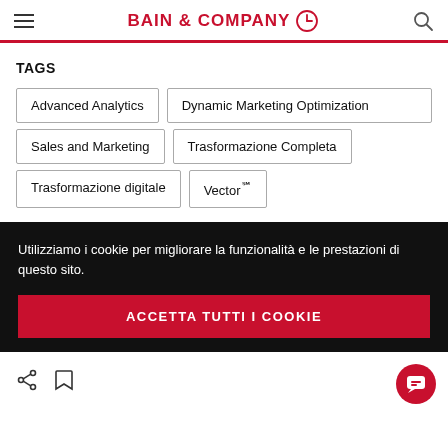BAIN & COMPANY
TAGS
Advanced Analytics
Dynamic Marketing Optimization
Sales and Marketing
Trasformazione Completa
Trasformazione digitale
Vector℠
Utilizziamo i cookie per migliorare la funzionalità e le prestazioni di questo sito.
ACCETTA TUTTI I COOKIE